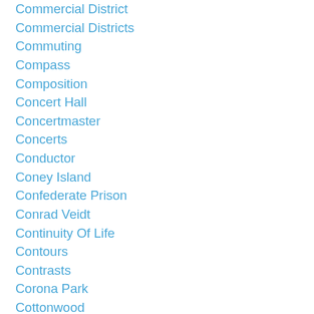Commercial District
Commercial Districts
Commuting
Compass
Composition
Concert Hall
Concertmaster
Concerts
Conductor
Coney Island
Confederate Prison
Conrad Veidt
Continuity Of Life
Contours
Contrasts
Corona Park
Cottonwood
Country Road
Country Roads
Country-Rock Music
Cowboy Hat